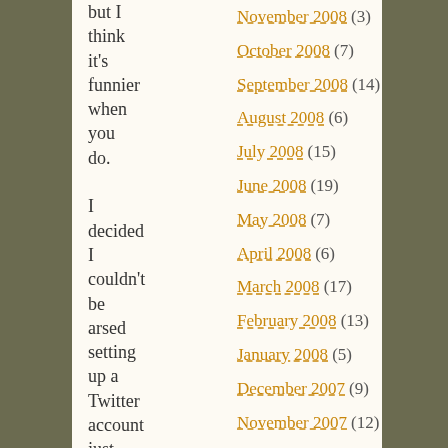but I think it's funnier when you do.

I decided I couldn't be arsed setting up a Twitter account just for this, so here
November 2008 (3)
October 2008 (7)
September 2008 (14)
August 2008 (6)
July 2008 (15)
June 2008 (19)
May 2008 (7)
April 2008 (6)
March 2008 (17)
February 2008 (13)
January 2008 (5)
December 2007 (9)
November 2007 (12)
October 2007 (10)
September 2007 (15)
August 2007 (23)